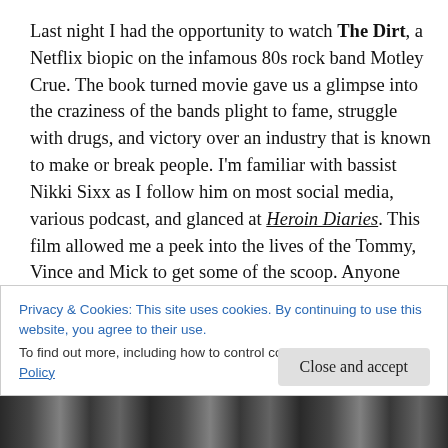Last night I had the opportunity to watch The Dirt, a Netflix biopic on the infamous 80s rock band Motley Crue. The book turned movie gave us a glimpse into the craziness of the bands plight to fame, struggle with drugs, and victory over an industry that is known to make or break people. I'm familiar with bassist Nikki Sixx as I follow him on most social media, various podcast, and glanced at Heroin Diaries. This film allowed me a peek into the lives of the Tommy, Vince and Mick to get some of the scoop. Anyone who loves the cru should visit Netflix to check it out and share their thoughts, and read the
Privacy & Cookies: This site uses cookies. By continuing to use this website, you agree to their use.
To find out more, including how to control cookies, see here: Cookie Policy
Close and accept
[Figure (photo): Black and white photo strip at the bottom of the page]